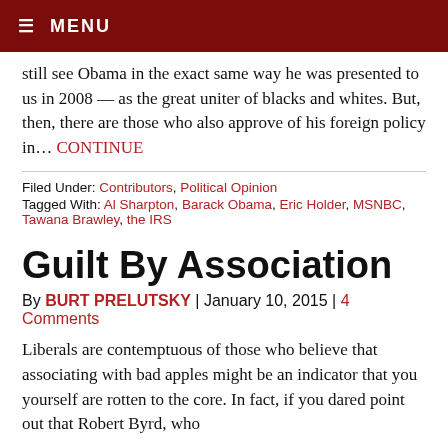≡ MENU
still see Obama in the exact same way he was presented to us in 2008 — as the great uniter of blacks and whites. But, then, there are those who also approve of his foreign policy in… CONTINUE
Filed Under: Contributors, Political Opinion
Tagged With: Al Sharpton, Barack Obama, Eric Holder, MSNBC, Tawana Brawley, the IRS
Guilt By Association
By BURT PRELUTSKY | January 10, 2015 | 4 Comments
Liberals are contemptuous of those who believe that associating with bad apples might be an indicator that you yourself are rotten to the core. In fact, if you dared point out that Robert Byrd, who